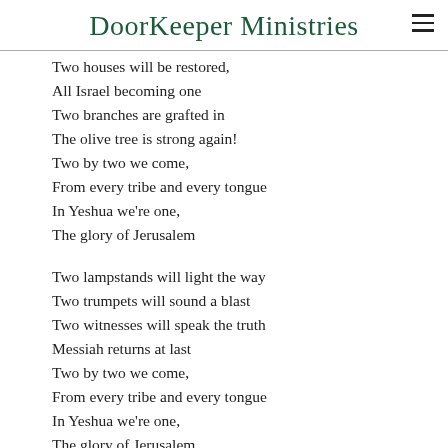DoorKeeper Ministries
Two houses will be restored,
All Israel becoming one
Two branches are grafted in
The olive tree is strong again!
Two by two we come,
From every tribe and every tongue
In Yeshua we're one,
The glory of Jerusalem

Two lampstands will light the way
Two trumpets will sound a blast
Two witnesses will speak the truth
Messiah returns at last
Two by two we come,
From every tribe and every tongue
In Yeshua we're one,
The glory of Jerusalem